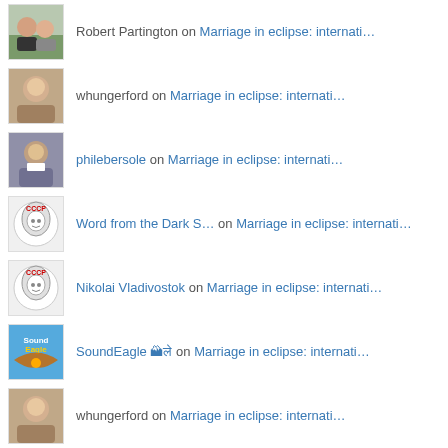Robert Partington on Marriage in eclipse: internati…
whungerford on Marriage in eclipse: internati…
philebersole on Marriage in eclipse: internati…
Word from the Dark S… on Marriage in eclipse: internati…
Nikolai Vladivostok on Marriage in eclipse: internati…
SoundEagle 🏔ले on Marriage in eclipse: internati…
whungerford on Marriage in eclipse: internati…
Fred (Au Natural) on Marriage in eclipse: internati…